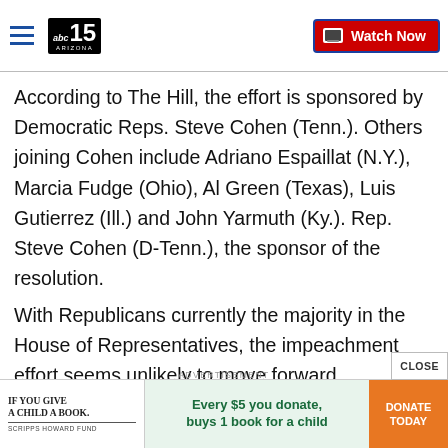[Figure (logo): abc15 Arizona logo with hamburger menu and Watch Now button in navigation bar]
According to The Hill, the effort is sponsored by Democratic Reps. Steve Cohen (Tenn.). Others joining Cohen include Adriano Espaillat (N.Y.), Marcia Fudge (Ohio), Al Green (Texas), Luis Gutierrez (Ill.) and John Yarmuth (Ky.). Rep. Steve Cohen (D-Tenn.), the sponsor of the resolution.
With Republicans currently the majority in the House of Representatives, the impeachment effort seems unlikely to move forward.
[Figure (infographic): Advertisement: If You Give A Child A Book – Scripps Howard Fund. Every $5 you donate, buys 1 book for a child. Donate Today button.]